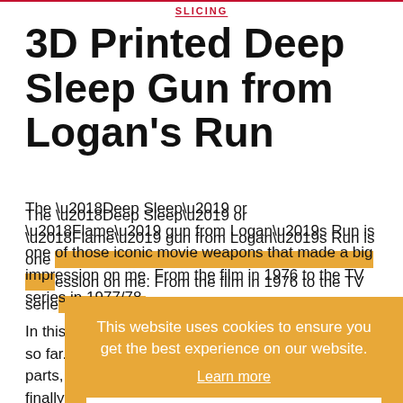SLICING
3D Printed Deep Sleep Gun from Logan's Run
The ‘Deep Sleep’ or ‘Flame’ gun from Logan’s Run is one of those iconic movie weapons that made a big impression on me. From the film in 1976 to the TV series in 1977/78.
In this video I work on my most advanced 3D print so far. I slice up the model’s component parts, print them and put them together so I can finally get my hands on a Deep Sleep gun from Logan’s Run.
This website uses cookies to ensure you get the best experience on our website.
Learn more
Okay, thank you.